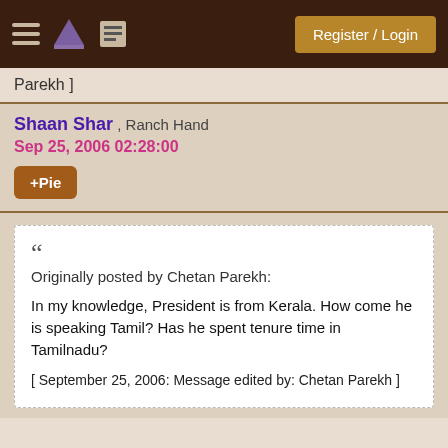Register / Login
Parekh ]
Shaan Shar , Ranch Hand
Sep 25, 2006 02:28:00
+Pie
Originally posted by Chetan Parekh:

In my knowledge, President is from Kerala. How come he is speaking Tamil? Has he spent tenure time in Tamilnadu?

[ September 25, 2006: Message edited by: Chetan Parekh ]